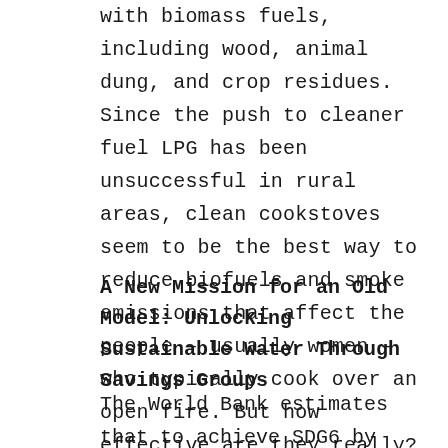with biomass fuels, including wood, animal dung, and crop residues. Since the push to cleaner fuel LPG has been unsuccessful in rural areas, clean cookstoves seem to be the best way to reduce biofuels and smoke emissions that affect the people – usually women – who typically cook over an open fire. But how effective are they really? Read more via Research Matters
A New Mission for an Old Model: Unlocking Sustainable Water Through Savings Groups
The World Bank estimates that to achieve SDG6 by 2030 we would need to be